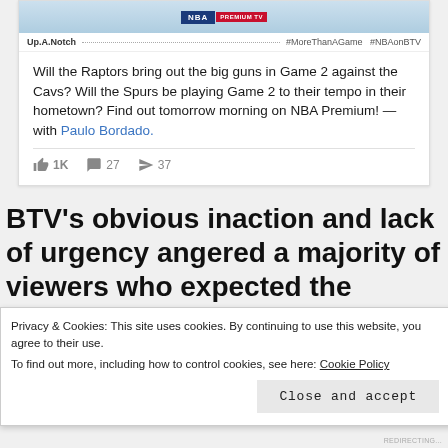[Figure (screenshot): NBA Premium TV social media post header with logo and dotted line with hashtags #MoreThanAGame #NBAonBTV]
Will the Raptors bring out the big guns in Game 2 against the Cavs? Will the Spurs be playing Game 2 to their tempo in their hometown? Find out tomorrow morning on NBA Premium! — with Paulo Bordado.
👍 1K  💬 27  ➤ 37
BTV's obvious inaction and lack of urgency angered a majority of viewers who expected the channel to deliver when it mattered the most. Many are unhappy with
Privacy & Cookies: This site uses cookies. By continuing to use this website, you agree to their use.
To find out more, including how to control cookies, see here: Cookie Policy
Close and accept
REDIRECTING...